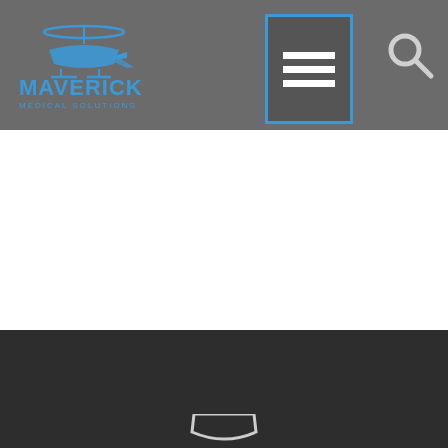[Figure (screenshot): Maverick Medical website header with logo on left, hamburger menu icon with blue border in center-right, and search icon on far right, on a gray background.]
[Figure (screenshot): White slider area with left navigation arrow (chevron left) in blue-bordered box on the left side and right navigation arrow (chevron right) in blue-bordered box on the right side.]
[Figure (screenshot): Dark gray footer section with a gray box (blue-bordered) containing an upward-pointing blue chevron arrow on the right side, and a partial white shield/badge icon visible at the bottom center.]